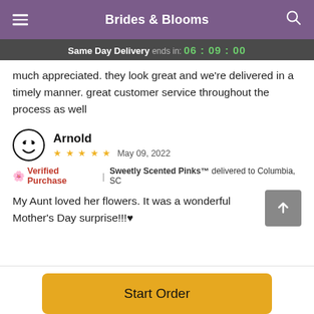Brides & Blooms
Same Day Delivery ends in: 06 : 09 : 00
much appreciated. they look great and we're delivered in a timely manner. great customer service throughout the process as well
Arnold
★ ★ ★ ★ ★   May 09, 2022
🌸 Verified Purchase  |  Sweetly Scented Pinks™ delivered to Columbia, SC
My Aunt loved her flowers. It was a wonderful Mother's Day surprise!!!♥
Start Order